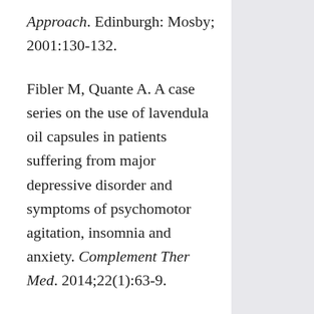Approach. Edinburgh: Mosby; 2001:130-132.
Fibler M, Quante A. A case series on the use of lavendula oil capsules in patients suffering from major depressive disorder and symptoms of psychomotor agitation, insomnia and anxiety. Complement Ther Med. 2014;22(1):63-9.
Graham PH, Browne L, Cox H, Graham J. Inhalation aromatherapy during radiotherapy: results of a placebo-controlled double-blind randomized trial. J Clin Oncol.